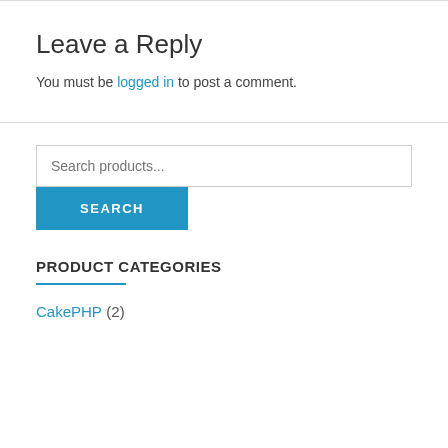Leave a Reply
You must be logged in to post a comment.
Search products...
PRODUCT CATEGORIES
CakePHP (2)